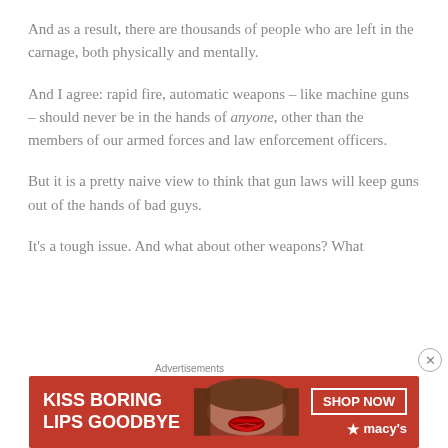And as a result, there are thousands of people who are left in the carnage, both physically and mentally.
And I agree: rapid fire, automatic weapons – like machine guns – should never be in the hands of anyone, other than the members of our armed forces and law enforcement officers.
But it is a pretty naive view to think that gun laws will keep guns out of the hands of bad guys.
It's a tough issue. And what about other weapons? What
[Figure (advertisement): Macy's advertisement with red background, text reading KISS BORING LIPS GOODBYE, a photo of a woman with red lips, and a SHOP NOW button with Macy's star logo]
Advertisements